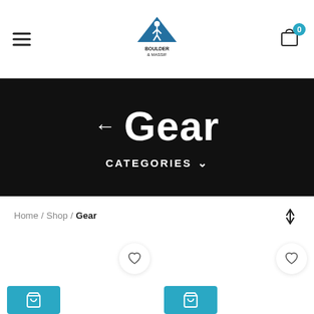Boulder & Massif – navigation bar with hamburger menu, logo, and cart (0 items)
← Gear
CATEGORIES ∨
Home / Shop / Gear
[Figure (screenshot): Two product cards with wishlist heart icons and teal add-to-cart buttons at the bottom of the page]